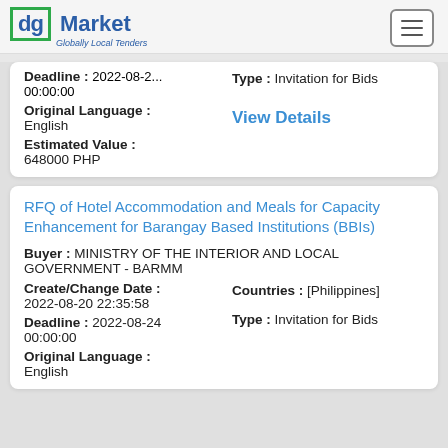dg Market — Globally Local Tenders
Deadline : 2022-08-2... 00:00:00
Type : Invitation for Bids
Original Language : English
Estimated Value : 648000 PHP
View Details
RFQ of Hotel Accommodation and Meals for Capacity Enhancement for Barangay Based Institutions (BBIs)
Buyer : MINISTRY OF THE INTERIOR AND LOCAL GOVERNMENT - BARMM
Create/Change Date : 2022-08-20 22:35:58
Countries : [Philippines]
Deadline : 2022-08-24 00:00:00
Type : Invitation for Bids
Original Language : English